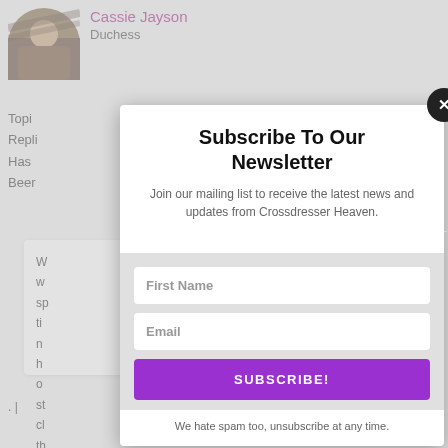[Figure (photo): Circular avatar photo of a person]
Cassie Jayson
Duchess
Topi
Repli
Has
Beer
Subscribe To Our Newsletter
Join our mailing list to receive the latest news and updates from Crossdresser Heaven.
First Name
Email
SUBSCRIBE!
We hate spam too, unsubscribe at any time.